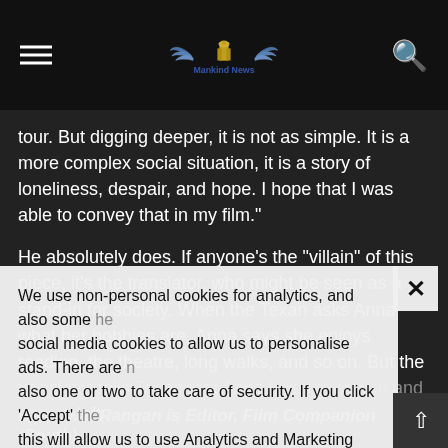Mankind News
tour. But digging deeper, it is not as simple. It is a more complex social situation, it is a story of loneliness, despair, and hope. I hope that I was able to convey that in my film."
He absolutely does. If anyone's the "villain" of this piece, it's the translator, who might be seen as a stand-in for society. When the Texan asks Anna what her hobbies are, Anna says she enjoys reading, the theatre, long walks, and so on. But the translator tells Texan that Anna loves to stay in and cook left [behind overlay text partially visible]
We use non-personal cookies for analytics, and also some social media cookies to allow us to personalise ads. There are also one or two to take care of security. If you click 'Accept' this will allow us to use Analytics and Marketing cookies. You have full control over which cookies may be set by clicking 'Settings'.
Baradwat Rangan is Editor, Film Companion (South)